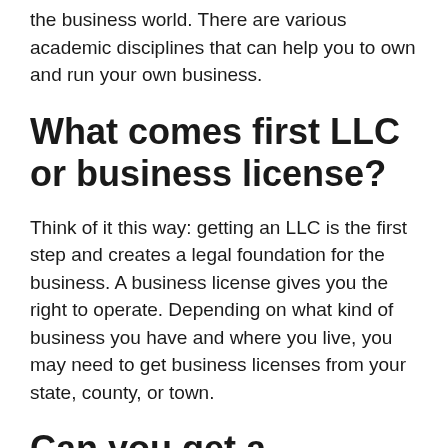the business world. There are various academic disciplines that can help you to own and run your own business.
What comes first LLC or business license?
Think of it this way: getting an LLC is the first step and creates a legal foundation for the business. A business license gives you the right to operate. Depending on what kind of business you have and where you live, you may need to get business licenses from your state, county, or town.
Can you get a business license for free?